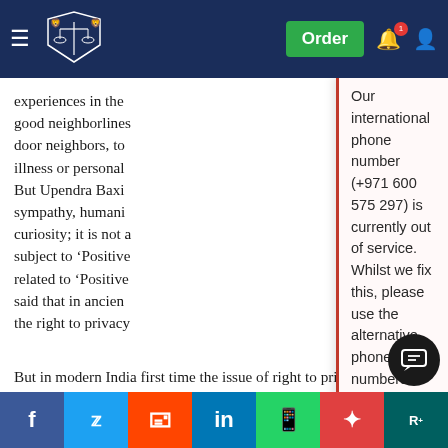Order [navigation header with logo, hamburger menu, bell notification, user icon]
experiences in the good neighborlines door neighbors, to illness or personal But Upendra Baxi sympathy, humani curiosity; it is not a subject to 'Positive related to 'Positive said that in ancien the right to privacy
Our international phone number (+971 600 575 297) is currently out of service. Whilst we fix this, please use the alternative phone numbers provided on the contact page, message through your customer account or click the WhatsApp button from your mobile (Monday – Friday 9am – 5pm, Saturday 10am – 6pm UK time). August 20, 2022
But in modern India first time the issue of right to privacy was discussed in debates of constituent assembly we K.S. Karimuddin moved an Amendement on the lines of the US Co [Constitution] it only reserved support. It did not secure the incorporation of the